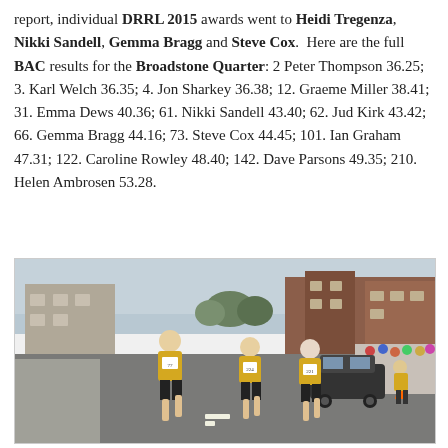report, individual DRRL 2015 awards went to Heidi Tregenza, Nikki Sandell, Gemma Bragg and Steve Cox.  Here are the full BAC results for the Broadstone Quarter: 2 Peter Thompson 36.25;  3. Karl Welch 36.35; 4. Jon Sharkey 36.38; 12. Graeme Miller 38.41; 31. Emma Dews 40.36; 61. Nikki Sandell 43.40; 62. Jud Kirk 43.42; 66. Gemma Bragg 44.16; 73. Steve Cox 44.45; 101. Ian Graham 47.31; 122. Caroline Rowley 48.40; 142. Dave Parsons 49.35; 210. Helen Ambrosen 53.28.
[Figure (photo): Three female runners in yellow vests and black shorts running on a road during a race. Buildings and spectators visible in the background.]